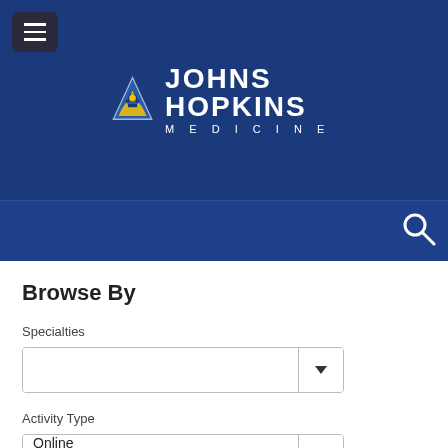[Figure (logo): Johns Hopkins Medicine logo with triangle shield icon and text JOHNS HOPKINS MEDICINE on dark blue background with hamburger menu button and search icon]
Browse By
Specialties
Activity Type
Online
Accreditation